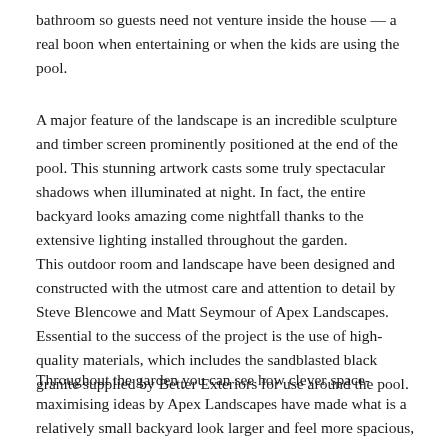bathroom so guests need not venture inside the house — a real boon when entertaining or when the kids are using the pool.
A major feature of the landscape is an incredible sculpture and timber screen prominently positioned at the end of the pool. This stunning artwork casts some truly spectacular shadows when illuminated at night. In fact, the entire backyard looks amazing come nightfall thanks to the extensive lighting installed throughout the garden.
This outdoor room and landscape have been designed and constructed with the utmost care and attention to detail by Steve Blencowe and Matt Seymour of Apex Landscapes. Essential to the success of the project is the use of high-quality materials, which includes the sandblasted black granite supplied by Better Exteriors for use around the pool.
Throughout the garden you can see how clever space-maximising ideas by Apex Landscapes have made what is a relatively small backyard look larger and feel more spacious,